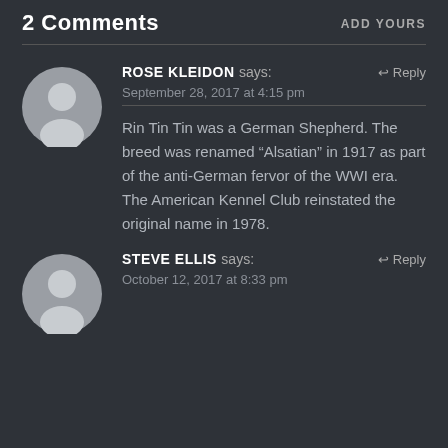2 Comments
ADD YOURS
ROSE KLEIDON says:
September 28, 2017 at 4:15 pm
Rin Tin Tin was a German Shepherd. The breed was renamed “Alsatian” in 1917 as part of the anti-German fervor of the WWI era. The American Kennel Club reinstated the original name in 1978.
STEVE ELLIS says:
October 12, 2017 at 8:33 pm